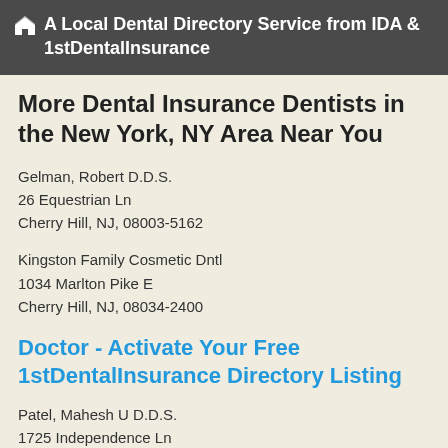A Local Dental Directory Service from IDA & 1stDentalInsurance
More Dental Insurance Dentists in the New York, NY Area Near You
Gelman, Robert D.D.S.
26 Equestrian Ln
Cherry Hill, NJ, 08003-5162
Kingston Family Cosmetic Dntl
1034 Marlton Pike E
Cherry Hill, NJ, 08034-2400
Doctor - Activate Your Free 1stDentalInsurance Directory Listing
Patel, Mahesh U D.D.S.
1725 Independence Ln
Cherry Hill, NJ, 08003-3223
Bachstein, Benedict J D.D.S.
303 Kings Hwy S